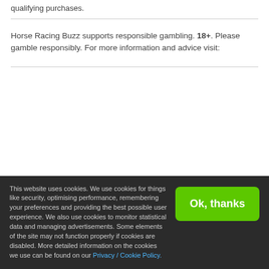qualifying purchases.
Horse Racing Buzz supports responsible gambling. 18+. Please gamble responsibly. For more information and advice visit:
[Figure (other): Loading spinner icon (gray radial lines forming a circular loading indicator)]
This website uses cookies. We use cookies for things like security, optimising performance, remembering your preferences and providing the best possible user experience. We also use cookies to monitor statistical data and managing advertisements. Some elements of the site may not function properly if cookies are disabled. More detailed information on the cookies we use can be found on our Privacy / Cookie Policy.